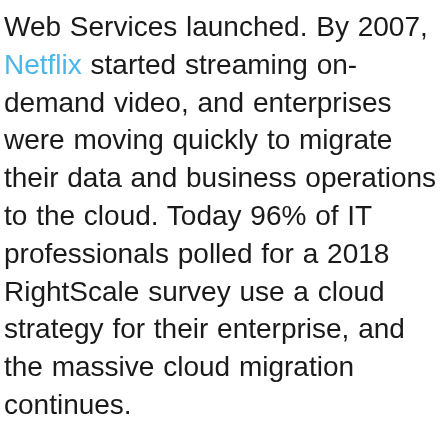Web Services launched. By 2007, Netflix started streaming on-demand video, and enterprises were moving quickly to migrate their data and business operations to the cloud. Today 96% of IT professionals polled for a 2018 RightScale survey use a cloud strategy for their enterprise, and the massive cloud migration continues.
What accounts for this kind of explosion of transformational technology? Three things: cost reductions, tooling and platform availability, and the acquisition of advanced engineering skills. As costs come down, this kind of leading-edge tech becomes accessible to small- and medium-sized